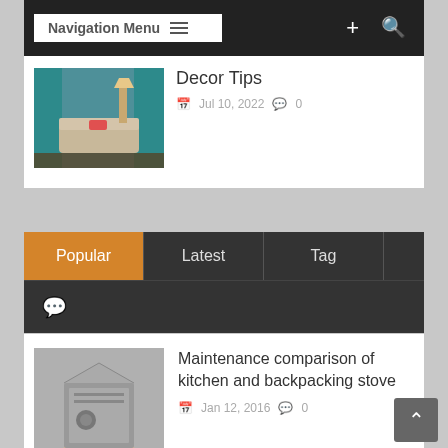Navigation Menu + Search
[Figure (screenshot): Thumbnail of a living room with teal curtains and brown furniture]
Decor Tips
Jul 10, 2022  0
Popular | Latest | Tag
[Figure (screenshot): Hand holding a small metal backpacking stove]
Maintenance comparison of kitchen and backpacking stove
Jan 12, 2016  0
[Figure (screenshot): Koi pond with rocks and plants]
Tips for Improving Your Koi Pond
Apr 12, 2019  0